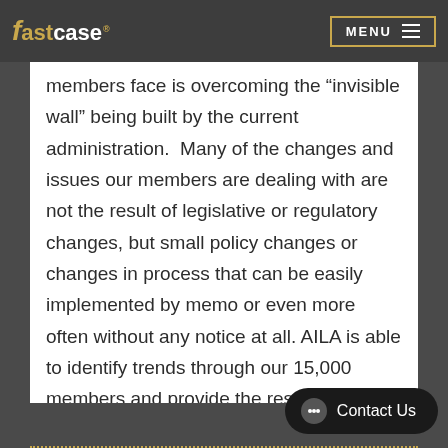fastcase  MENU
members face is overcoming the “invisible wall” being built by the current administration.  Many of the changes and issues our members are dealing with are not the result of legislative or regulatory changes, but small policy changes or changes in process that can be easily implemented by memo or even more often without any notice at all. AILA is able to identify trends through our 15,000 members and provide the resources to fight these challenges.
Contact Us